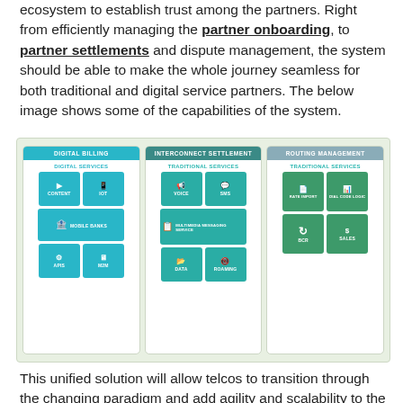ecosystem to establish trust among the partners. Right from efficiently managing the partner onboarding, to partner settlements and dispute management, the system should be able to make the whole journey seamless for both traditional and digital service partners. The below image shows some of the capabilities of the system.
[Figure (infographic): Three-panel diagram showing system capabilities: Digital Billing (Digital Services: Content, IoT, Mobile Banks, APIs, M2M), Interconnect Settlement (Traditional Services: Voice, SMS, Multimedia Messaging Service, Data, Roaming), and Routing Management (Traditional Services: Rate Import, Dial Code Logic, BCR, Sales)]
This unified solution will allow telcos to transition through the changing paradigm and add agility and scalability to the business to embrace any new technology and consumer behavioral shift.